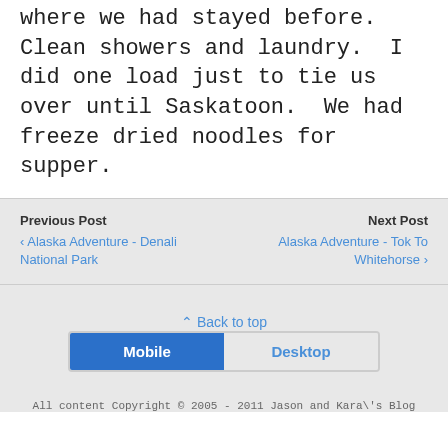where we had stayed before. Clean showers and laundry. I did one load just to tie us over until Saskatoon. We had freeze dried noodles for supper.
Previous Post
◄ Alaska Adventure - Denali National Park
Next Post
Alaska Adventure - Tok To Whitehorse ►
⌃ Back to top
Mobile | Desktop
All content Copyright © 2005 - 2011 Jason and Kara\'s Blog